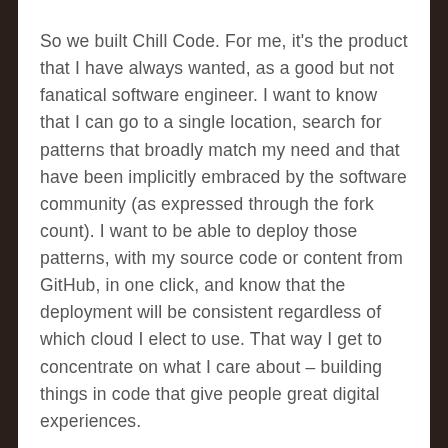So we built Chill Code. For me, it's the product that I have always wanted, as a good but not fanatical software engineer. I want to know that I can go to a single location, search for patterns that broadly match my need and that have been implicitly embraced by the software community (as expressed through the fork count). I want to be able to deploy those patterns, with my source code or content from GitHub, in one click, and know that the deployment will be consistent regardless of which cloud I elect to use. That way I get to concentrate on what I care about – building things in code that give people great digital experiences.